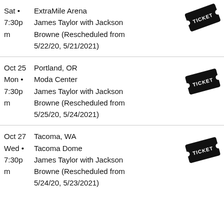Sat • ExtraMile Arena 7:30pm James Taylor with Jackson Browne (Rescheduled from 5/22/20, 5/21/2021)
Oct 25 Mon • Portland, OR Moda Center 7:30pm James Taylor with Jackson Browne (Rescheduled from 5/25/20, 5/24/2021)
Oct 27 Wed • Tacoma, WA Tacoma Dome 7:30pm James Taylor with Jackson Browne (Rescheduled from 5/24/20, 5/23/2021)